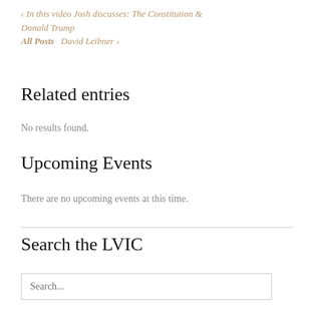‹ In this video Josh discusses: The Constitution & Donald Trump
All Posts   David Leibner ›
Related entries
No results found.
Upcoming Events
There are no upcoming events at this time.
Search the LVIC
Search...